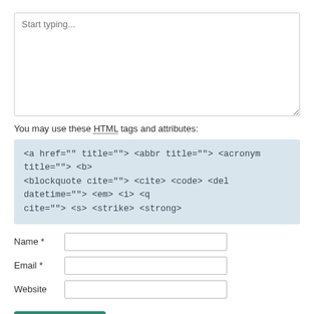[Figure (screenshot): A comment form textarea with placeholder text 'Start typing...']
You may use these HTML tags and attributes:
<a href="" title=""> <abbr title=""> <acronym title=""> <b> <blockquote cite=""> <cite> <code> <del datetime=""> <em> <i> <q cite=""> <s> <strike> <strong>
Name *
Email *
Website
Post Comment